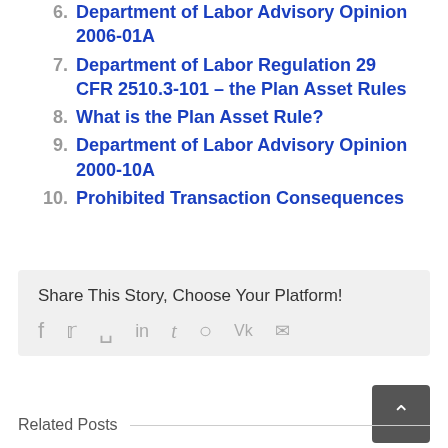Department of Labor Advisory Opinion 2006-01A
Department of Labor Regulation 29 CFR 2510.3-101 – the Plan Asset Rules
What is the Plan Asset Rule?
Department of Labor Advisory Opinion 2000-10A
Prohibited Transaction Consequences
Share This Story, Choose Your Platform!
Related Posts